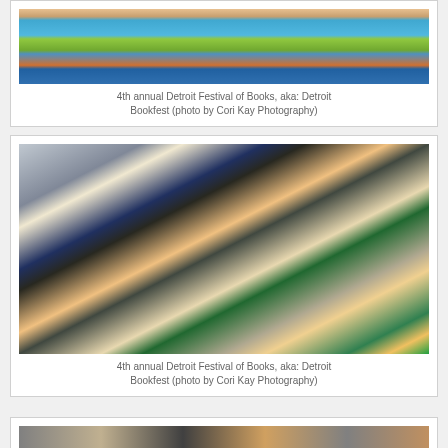[Figure (photo): People at the 4th annual Detroit Festival of Books, aka Detroit Bookfest. Shows attendees including a woman in a teal dress near colorful book displays.]
4th annual Detroit Festival of Books, aka: Detroit Bookfest (photo by Cori Kay Photography)
[Figure (photo): 4th annual Detroit Festival of Books, aka Detroit Bookfest. A woman in a black floral outfit reads a book at a vendor table with children's books displayed. Other attendees visible in the background inside what appears to be a venue with 'Tech Commons' signage.]
4th annual Detroit Festival of Books, aka: Detroit Bookfest (photo by Cori Kay Photography)
[Figure (photo): Partial view of another photo from the 4th annual Detroit Festival of Books, aka Detroit Bookfest (cropped at bottom of page).]